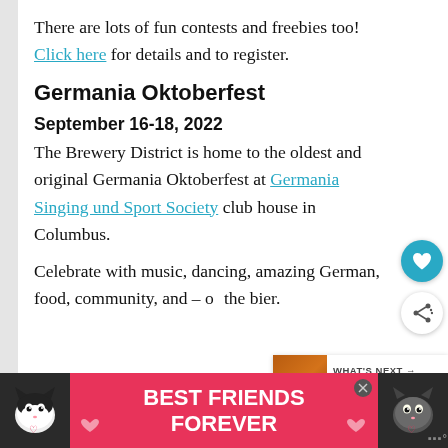There are lots of fun contests and freebies too! Click here for details and to register.
Germania Oktoberfest
September 16-18, 2022
The Brewery District is home to the oldest and original Germania Oktoberfest at Germania Singing und Sport Society club house in Columbus.
Celebrate with music, dancing, amazing German, food, community, and – of the bier.
[Figure (infographic): WHAT'S NEXT panel with pumpkin image and text 'Pumpkin EVERYTHIN...']
[Figure (infographic): Advertisement banner: BEST FRIENDS FOREVER with cat photos on either side]